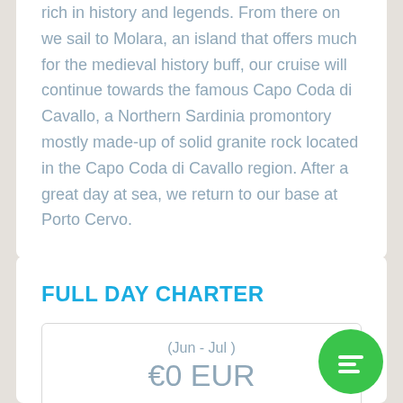rich in history and legends. From there on we sail to Molara, an island that offers much for the medieval history buff, our cruise will continue towards the famous Capo Coda di Cavallo, a Northern Sardinia promontory mostly made-up of solid granite rock located in the Capo Coda di Cavallo region. After a great day at sea, we return to our base at Porto Cervo.
FULL DAY CHARTER
| Period | Price |
| --- | --- |
| (Jun - Jul ) | €0 EUR |
| (Jul - Aug ) | €0 EUR |